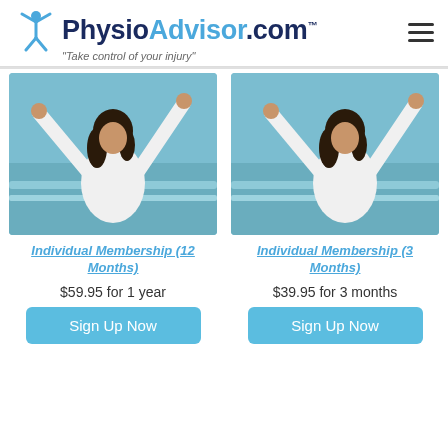PhysioAdvisor.com™ — "Take control of your injury"
[Figure (photo): Woman in white shirt with arms raised at beach — Individual Membership (12 Months)]
Individual Membership (12 Months)
$59.95 for 1 year
Sign Up Now
[Figure (photo): Woman in white shirt with arms raised at beach — Individual Membership (3 Months)]
Individual Membership (3 Months)
$39.95 for 3 months
Sign Up Now